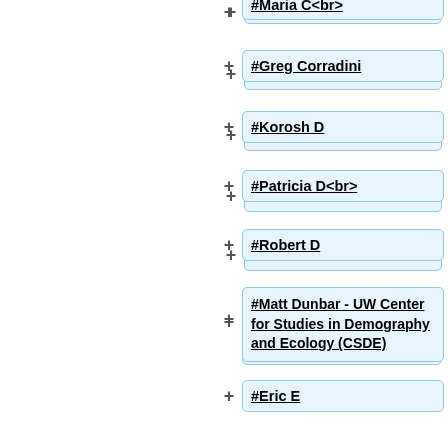#Maria C<br>
#Greg Corradini
#Korosh D
#Patricia D<br>
#Robert D
#Matt Dunbar - UW Center for Studies in Demography and Ecology (CSDE)
#Eric E
#Jared Erickson
#Chris Fowler
#Michael P. Gerlek (mpg) - Flaxen Geo
#Holly Glaser<br>